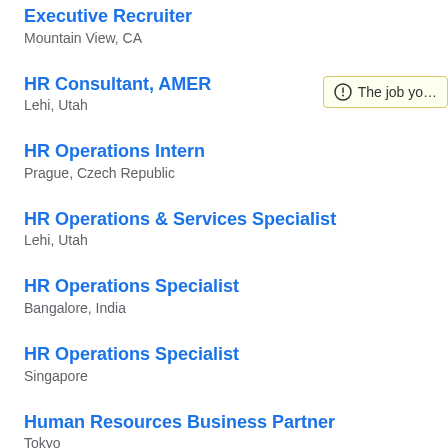Executive Recruiter
Mountain View, CA
HR Consultant, AMER
Lehi, Utah
HR Operations Intern
Prague, Czech Republic
HR Operations & Services Specialist
Lehi, Utah
HR Operations Specialist
Bangalore, India
HR Operations Specialist
Singapore
Human Resources Business Partner
Tokyo
The job yo...